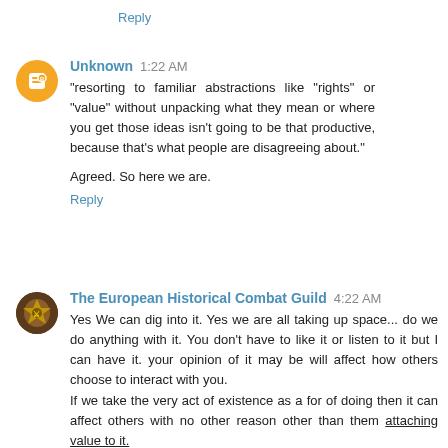Reply
Unknown 1:22 AM
"resorting to familiar abstractions like "rights" or "value" without unpacking what they mean or where you get those ideas isn't going to be that productive, because that's what people are disagreeing about."
Agreed. So here we are.
Reply
The European Historical Combat Guild 4:22 AM
Yes We can dig into it. Yes we are all taking up space... do we do anything with it. You don't have to like it or listen to it but I can have it. your opinion of it may be will affect how others choose to interact with you.
If we take the very act of existence as a for of doing then it can affect others with no other reason other than them attaching value to it.